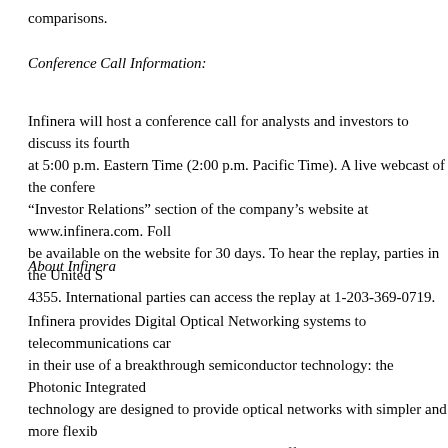comparisons.
Conference Call Information:
Infinera will host a conference call for analysts and investors to discuss its fourth at 5:00 p.m. Eastern Time (2:00 p.m. Pacific Time). A live webcast of the confere "Investor Relations" section of the company's website at www.infinera.com. Foll be available on the website for 30 days. To hear the replay, parties in the United S 4355. International parties can access the replay at 1-203-369-0719.
About Infinera
Infinera provides Digital Optical Networking systems to telecommunications car in their use of a breakthrough semiconductor technology: the Photonic Integrated technology are designed to provide optical networks with simpler and more flexib service, and the ability to rapidly deliver differentiated services without reengine information, please visit www.infinera.com.
Forward-Looking Statements
This press release contains forward-looking statements, including statements abo